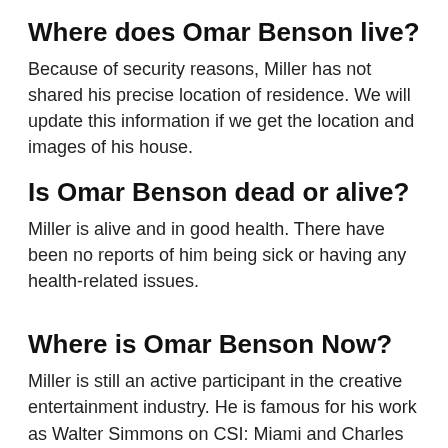Where does Omar Benson live?
Because of security reasons, Miller has not shared his precise location of residence. We will update this information if we get the location and images of his house.
Is Omar Benson dead or alive?
Miller is alive and in good health. There have been no reports of him being sick or having any health-related issues.
Where is Omar Benson Now?
Miller is still an active participant in the creative entertainment industry. He is famous for his work as Walter Simmons on CSI: Miami and Charles Greane on Ballers, voices Raphael on Rise of the Teenage Mutant Ninja Turtles and he currently stars in the